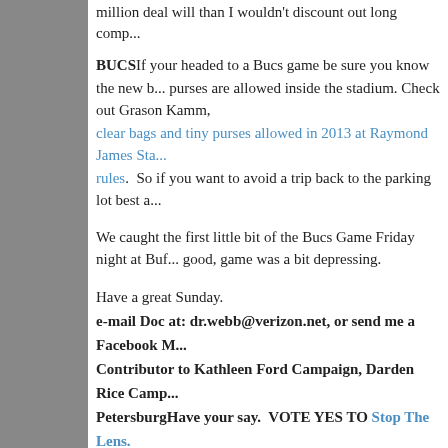million deal will than I wouldn't discount out long comp...
BUCSIf your headed to a Bucs game be sure you know the new b... purses are allowed inside the stadium. Check out Grason Kamm, clear bags and tiny purses allowed in 2013 at Raymond James Sta... rules. So if you want to avoid a trip back to the parking lot best a...
We caught the first little bit of the Bucs Game Friday night at Buf... good, game was a bit depressing.
Have a great Sunday.
e-mail Doc at: dr.webb@verizon.net, or send me a Facebook M... Contributor to Kathleen Ford Campaign, Darden Rice Camp... PetersburgHave your say.  VOTE YES TO Stop The Lens.
Posted by E. Eugene Webb PhD at 8:01 AM   No com...
Friday, August 16, 2013
District 2 Candidates on Sou...